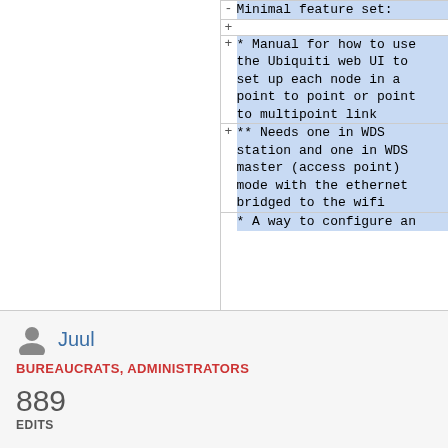Minimal feature set:
+
* Manual for how to use the Ubiquiti web UI to set up each node in a point to point or point to multipoint link
** Needs one in WDS station and one in WDS master (access point) mode with the ethernet bridged to the wifi
* A way to configure an
Juul
BUREAUCRATS, ADMINISTRATORS
889
EDITS